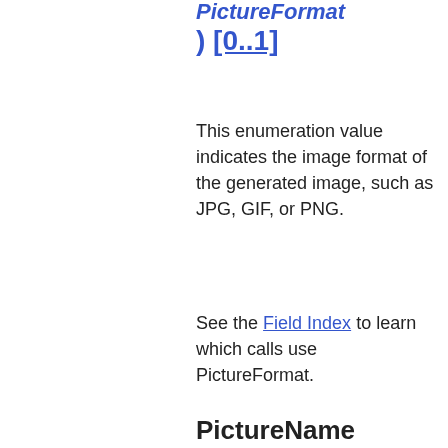PictureFormat ) [0..1]
This enumeration value indicates the image format of the generated image, such as JPG, GIF, or PNG.
See the Field Index to learn which calls use PictureFormat.
PictureName